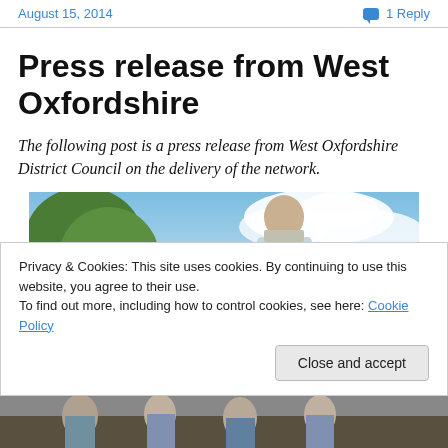August 15, 2014   1 Reply
Press release from West Oxfordshire
The following post is a press release from West Oxfordshire District Council on the delivery of the network.
[Figure (photo): Outdoor photo showing a person against a blue sky with clouds and green trees in the background]
Privacy & Cookies: This site uses cookies. By continuing to use this website, you agree to their use.
To find out more, including how to control cookies, see here: Cookie Policy
[Figure (photo): Partial view of a second photo at the bottom of the page]